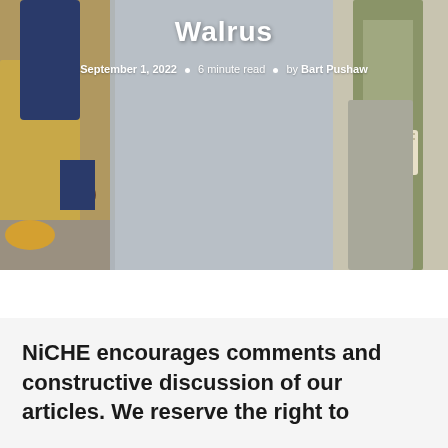[Figure (illustration): Hero image with a painting showing figures on left and right sides, with a gray overlay in the center containing article metadata. Title 'Walrus' visible at top, with date, read time, and author info.]
Walrus
September 1, 2022 • 6 minute read • by Bart Pushaw
NiCHE encourages comments and constructive discussion of our articles. We reserve the right to delete comments that fail...